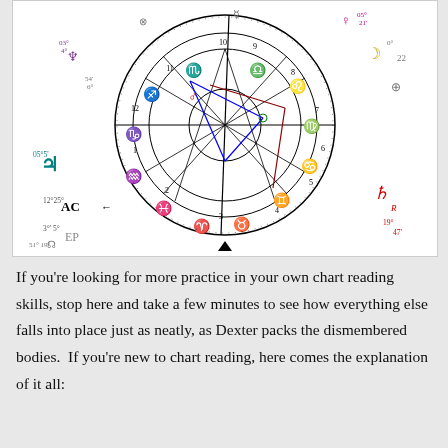[Figure (other): An astrological natal chart wheel showing zodiac signs, planetary symbols, house numbers, aspect lines, and degree markers. Labels visible include AC (12°25'), EP (3°5'), house numbers 1-12, zodiac symbols for all 12 signs, planetary glyphs (Saturn Rx 13°47', Jupiter 5°5', and others), and aspect lines in blue and red.]
If you're looking for more practice in your own chart reading skills, stop here and take a few minutes to see how everything else falls into place just as neatly, as Dexter packs the dismembered bodies.  If you're new to chart reading, here comes the explanation of it all: